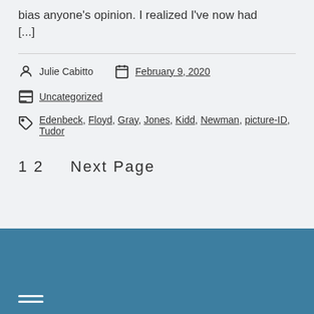bias anyone's opinion. I realized I've now had [...]
Julie Cabitto    February 9, 2020
Uncategorized
Edenbeck, Floyd, Gray, Jones, Kidd, Newman, picture-ID, Tudor
1 2    Next Page